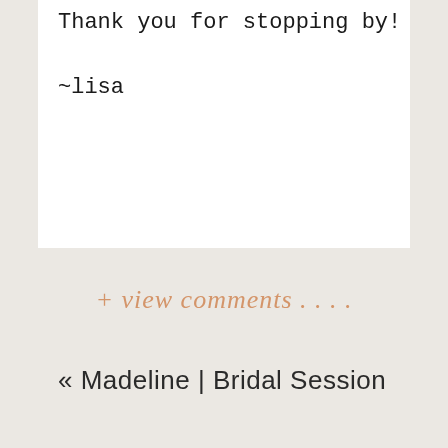Thank you for stopping by!
~lisa
+ view comments . . . .
« Madeline | Bridal Session